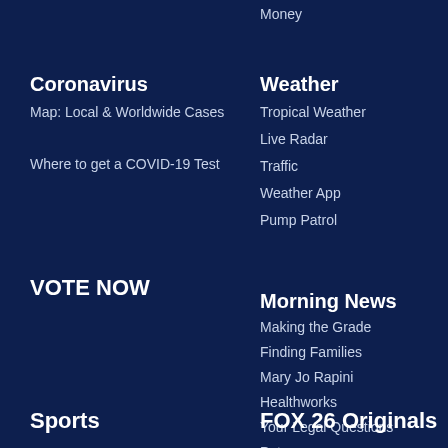Money
Coronavirus
Map: Local & Worldwide Cases
Where to get a COVID-19 Test
Weather
Tropical Weather
Live Radar
Traffic
Weather App
Pump Patrol
VOTE NOW
Morning News
Making the Grade
Finding Families
Mary Jo Rapini
Healthworks
Your Legal Questions
Pets
Sports
FOX 26 Originals